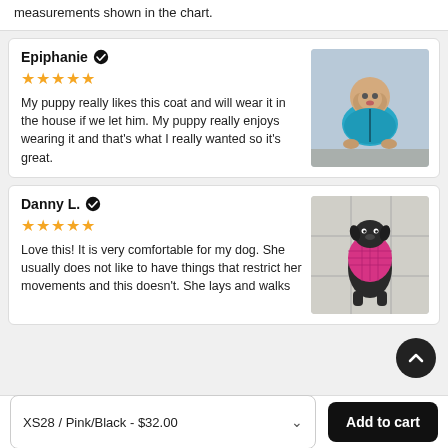measurements shown in the chart.
Epiphanie ✔
★★★★★
My puppy really likes this coat and will wear it in the house if we let him. My puppy really enjoys wearing it and that's what I really wanted so it's great.
[Figure (photo): Photo of a puppy wearing a blue/teal jacket, sitting on rocky ground outside.]
Danny L. ✔
★★★★★
Love this! It is very comfortable for my dog. She usually does not like to have things that restrict her movements and this doesn't. She lays and walks comfortable with it.
[Figure (photo): Photo of a small black dog wearing a pink quilted jacket, viewed from above on a tiled surface.]
XS28 / Pink/Black - $32.00
Add to cart